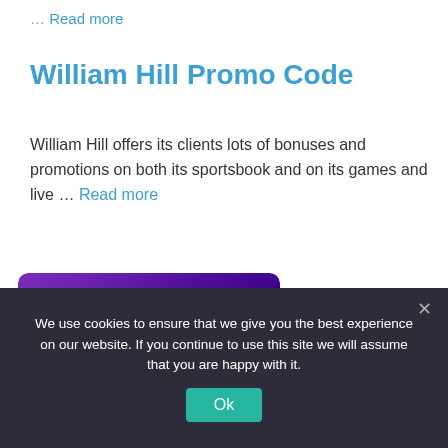… Read more
William Hill Promo Code
William Hill offers its clients lots of bonuses and promotions on both its sportsbook and on its games and live … Read more
[Figure (illustration): Purple/dark gradient card with a circular avatar placeholder and a horizontal divider line]
We use cookies to ensure that we give you the best experience on our website. If you continue to use this site we will assume that you are happy with it.
Ok